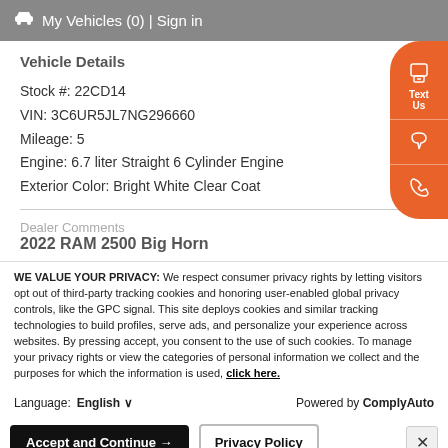My Vehicles (0) | Sign in
Vehicle Details
Stock #: 22CD14
VIN: 3C6UR5JL7NG296660
Mileage: 5
Engine: 6.7 liter Straight 6 Cylinder Engine
Exterior Color: Bright White Clear Coat
2022 RAM 2500 Big Horn
WE VALUE YOUR PRIVACY: We respect consumer privacy rights by letting visitors opt out of third-party tracking cookies and honoring user-enabled global privacy controls, like the GPC signal. This site deploys cookies and similar tracking technologies to build profiles, serve ads, and personalize your experience across websites. By pressing accept, you consent to the use of such cookies. To manage your privacy rights or view the categories of personal information we collect and the purposes for which the information is used, click here.
Language: English ∨  Powered by ComplyAuto
Accept and Continue → | Privacy Policy | ×